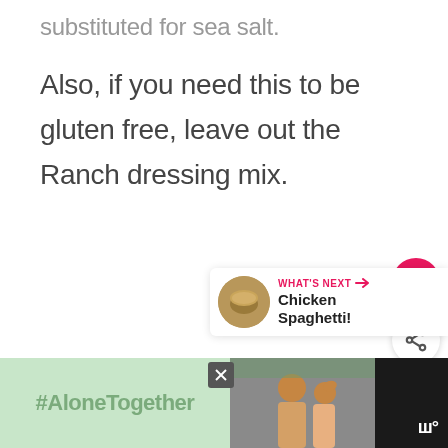substituted for sea salt.
Also, if you need this to be gluten free, leave out the Ranch dressing mix.
[Figure (screenshot): Pink circular love/heart button UI element]
[Figure (screenshot): White circular share button UI element with share icon]
[Figure (screenshot): What's Next card showing Chicken Spaghetti with thumbnail image]
[Figure (screenshot): Advertisement banner with #AloneTogether text and photo of father and daughter]